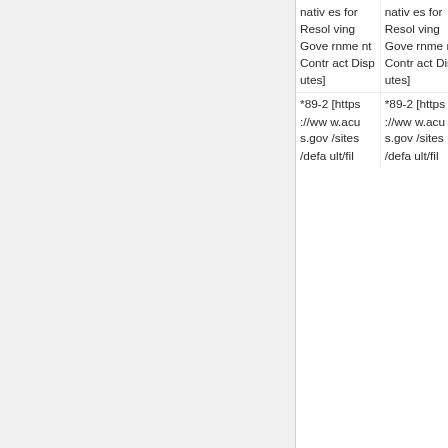| natives for Resolving Government Contract Disputes] | natives for Resolving Government Contract Disputes] |
| *89-2 [https://www.acus.gov/sites/default/fil | *89-2 [https://www.acus.gov/sites/default/fil |